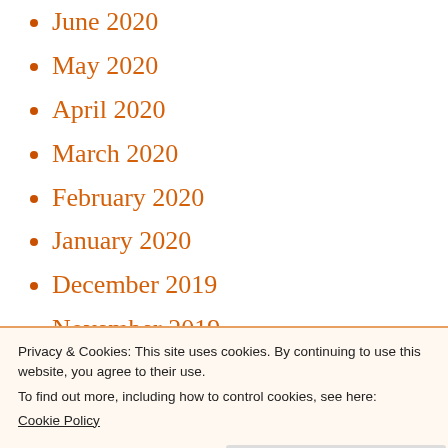June 2020
May 2020
April 2020
March 2020
February 2020
January 2020
December 2019
November 2019
October 2019
September 2019
August 2019
Privacy & Cookies: This site uses cookies. By continuing to use this website, you agree to their use.
To find out more, including how to control cookies, see here:
Cookie Policy
March 2019